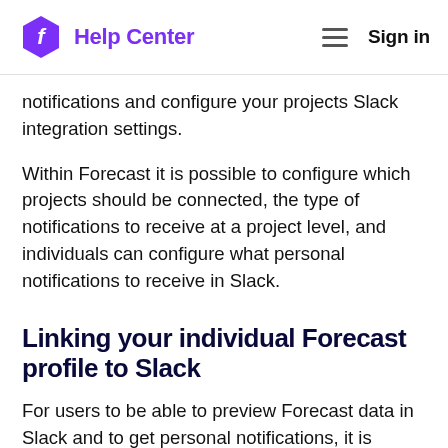Help Center  Sign in
notifications and configure your projects Slack integration settings.
Within Forecast it is possible to configure which projects should be connected, the type of notifications to receive at a project level, and individuals can configure what personal notifications to receive in Slack.
Linking your individual Forecast profile to Slack
For users to be able to preview Forecast data in Slack and to get personal notifications, it is